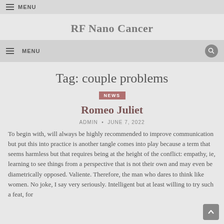≡ MENU
RF Nano Cancer
≡ MENU
Tag: couple problems
NEWS
Romeo Juliet
ADMIN • JUNE 7, 2022
To begin with, will always be highly recommended to improve communication but put this into practice is another tangle comes into play because a term that seems harmless but that requires being at the height of the conflict: empathy, ie, learning to see things from a perspective that is not their own and may even be diametrically opposed. Valiente. Therefore, the man who dares to think like women. No joke, I say very seriously. Intelligent but at least willing to try such a feat, for